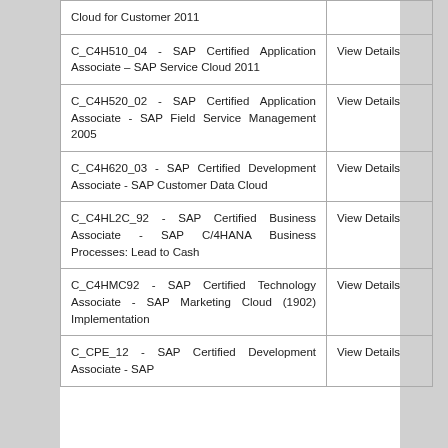| Exam Name | Action |
| --- | --- |
| Cloud for Customer 2011 | View Details |
| C_C4H510_04 - SAP Certified Application Associate – SAP Service Cloud 2011 | View Details |
| C_C4H520_02 - SAP Certified Application Associate - SAP Field Service Management 2005 | View Details |
| C_C4H620_03 - SAP Certified Development Associate - SAP Customer Data Cloud | View Details |
| C_C4HL2C_92 - SAP Certified Business Associate - SAP C/4HANA Business Processes: Lead to Cash | View Details |
| C_C4HMC92 - SAP Certified Technology Associate - SAP Marketing Cloud (1902) Implementation | View Details |
| C_CPE_12 - SAP Certified Development Associate - SAP | View Details |